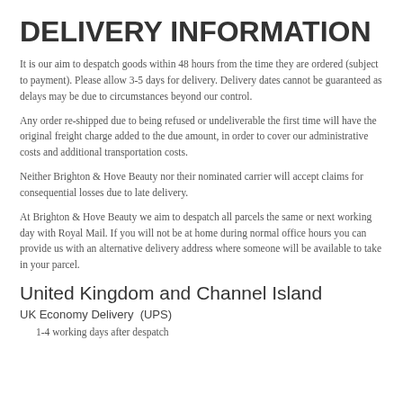DELIVERY INFORMATION
It is our aim to despatch goods within 48 hours from the time they are ordered (subject to payment). Please allow 3-5 days for delivery. Delivery dates cannot be guaranteed as delays may be due to circumstances beyond our control.
Any order re-shipped due to being refused or undeliverable the first time will have the original freight charge added to the due amount, in order to cover our administrative costs and additional transportation costs.
Neither Brighton & Hove Beauty nor their nominated carrier will accept claims for consequential losses due to late delivery.
At Brighton & Hove Beauty we aim to despatch all parcels the same or next working day with Royal Mail. If you will not be at home during normal office hours you can provide us with an alternative delivery address where someone will be available to take in your parcel.
United Kingdom and Channel Island
UK Economy Delivery  (UPS)
1-4 working days after despatch